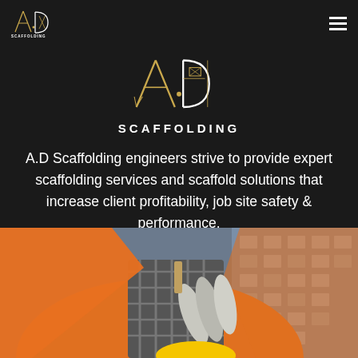A.D Scaffolding — navigation bar with logo and hamburger menu
[Figure (logo): A.D Scaffolding logo — large centered version with geometric scaffolding letterforms in gold/white on dark background, with SCAFFOLDING text below]
A.D Scaffolding engineers strive to provide expert scaffolding services and scaffold solutions that increase client profitability, job site safety & performance.
[Figure (photo): Construction worker in orange high-visibility vest and plaid shirt holding rolled blueprints/plans, with a blurred building in the background]